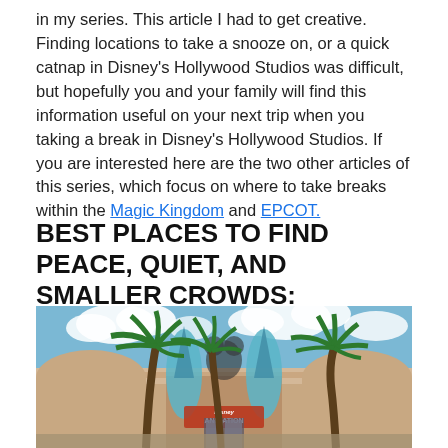in my series. This article I had to get creative. Finding locations to take a snooze on, or a quick catnap in Disney's Hollywood Studios was difficult, but hopefully you and your family will find this information useful on your next trip when you taking a break in Disney's Hollywood Studios. If you are interested here are the two other articles of this series, which focus on where to take breaks within the Magic Kingdom and EPCOT.
BEST PLACES TO FIND PEACE, QUIET, AND SMALLER CROWDS:
[Figure (photo): Exterior of Disney Animation building at Disney's Hollywood Studios, with palm trees in front, a blue sky with clouds, and a Mickey Mouse sorcerer hat decoration visible above the entrance. The building has a pink/tan facade and a sign reading 'Disney Animation'.]